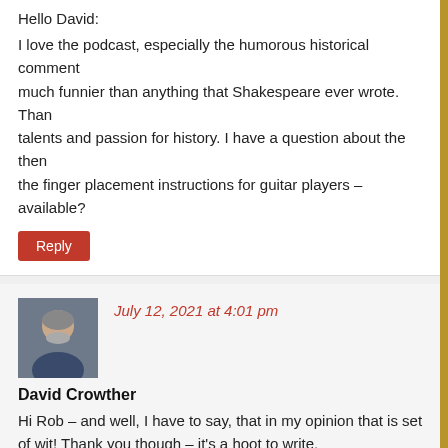Hello David:
I love the podcast, especially the humorous historical comment much funnier than anything that Shakespeare ever wrote. Than talents and passion for history. I have a question about the then the finger placement instructions for guitar players – available?
Reply
July 12, 2021 at 4:01 pm
David Crowther
Hi Rob – and well, I have to say, that in my opinion that is set of wit! Thank you though – it's a hoot to write.
I spoke to Davie – he sends this link which is close enough he Jansch version
https://tabs.ultimate-guitar.com/tab/bert-jansch/bla er
Top